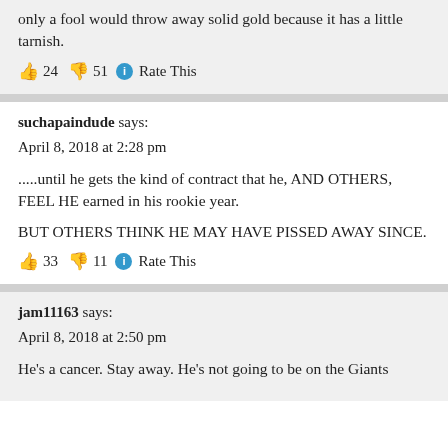only a fool would throw away solid gold because it has a little tarnish.
👍 24 👎 51 ℹ Rate This
suchapaindude says:
April 8, 2018 at 2:28 pm
.....until he gets the kind of contract that he, AND OTHERS, FEEL HE earned in his rookie year.
BUT OTHERS THINK HE MAY HAVE PISSED AWAY SINCE.
👍 33 👎 11 ℹ Rate This
jam11163 says:
April 8, 2018 at 2:50 pm
He's a cancer. Stay away. He's not going to be on the Giants